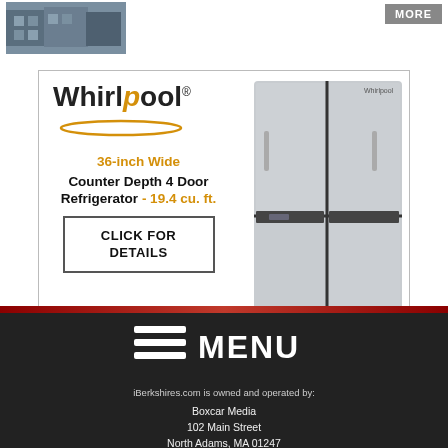[Figure (photo): Small thumbnail photo of buildings/cityscape in top left]
[Figure (screenshot): MORE button in top right corner]
[Figure (illustration): Whirlpool advertisement: 36-inch Wide Counter Depth 4 Door Refrigerator - 19.4 cu. ft., Model: WRQA59CNKZ. Mike's Maytag Home Appliance Center, Inc. 14 Gordon Street, Pittsfield, MA. 413.443.4692 • www.mikesmaytag.com]
[Figure (logo): Hamburger menu icon with MENU text]
iBerkshires.com is owned and operated by:
Boxcar Media
102 Main Street
North Adams, MA 01247